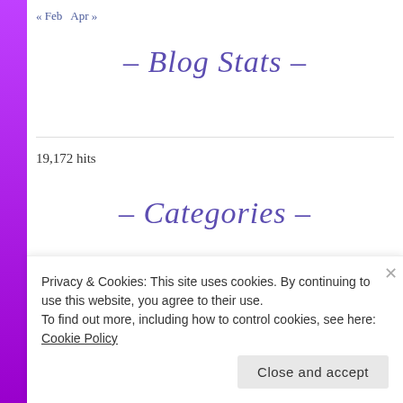« Feb   Apr »
– Blog Stats –
19,172 hits
– Categories –
Flash Fic Friday
Privacy & Cookies: This site uses cookies. By continuing to use this website, you agree to their use.
To find out more, including how to control cookies, see here:
Cookie Policy